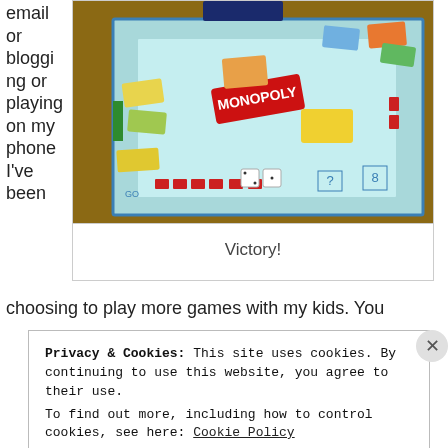email or blogging or playing on my phone I've been
[Figure (photo): A Monopoly board game in progress on a table, viewed from above at an angle, with game pieces, hotels, cards and money visible.]
Victory!
choosing to play more games with my kids. You
Privacy & Cookies: This site uses cookies. By continuing to use this website, you agree to their use.
To find out more, including how to control cookies, see here: Cookie Policy